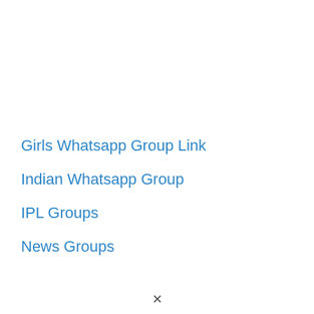Girls Whatsapp Group Link
Indian Whatsapp Group
IPL Groups
News Groups